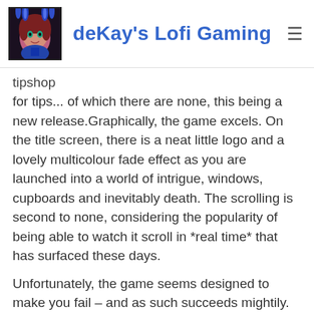deKay's Lofi Gaming
tipshop
for tips... of which there are none, this being a new release.Graphically, the game excels. On the title screen, there is a neat little logo and a lovely multicolour fade effect as you are launched into a world of intrigue, windows, cupboards and inevitably death. The scrolling is second to none, considering the popularity of being able to watch it scroll in *real time* that has surfaced these days.
Unfortunately, the game seems designed to make you fail – and as such succeeds mightily. Only the dodgy scrolling makes this even slightly crap.
This game gets a crap score of 2/10, as there's no real attempt been made at actually including a